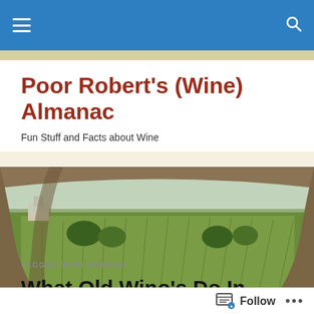Poor Robert's (Wine) Almanac — navigation bar
Poor Robert's (Wine) Almanac
Fun Stuff and Facts about Wine
[Figure (photo): View through a stone arch of a vineyard landscape with green rows of grapevines, trees, and overcast sky]
TAGGED WITH WRITING
What Old Wino's Do In Retirement